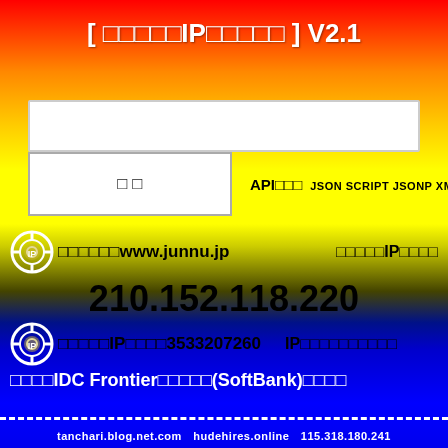[ □□□□□IP□□□□□ ] V2.1
[Figure (other): White search input box]
[Figure (other): Search button with Japanese text and API format options: JSON SCRIPT JSONP XML]
□□□□□□□www.junnu.jp　□□□□□IP□□□□
210.152.118.220
□□□□□IP□□□□3533207260　IP□□□□□□□□□□
□□□□IDC Frontier□□□□□(SoftBank)□□□□
tanchari.blog.net.com　hudehires.online　115.318.180.241